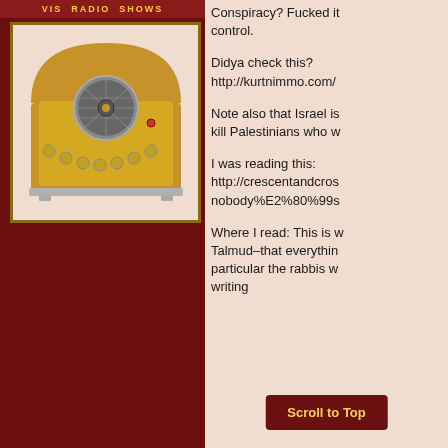VIS RADIO SHOWS
[Figure (illustration): Vintage retro radio device with gold/brass front panel, circular speaker grille, knobs, and curved wooden cabinet top, on a light pink background]
Conspiracy? Fucked it control.
Didya check this? http://kurtnimmo.com/
Note also that Israel is kill Palestinians who w
I was reading this: http://crescentandcros nobody%E2%80%99s
Where I read: This is w Talmud–that everythin particular the rabbis w writing